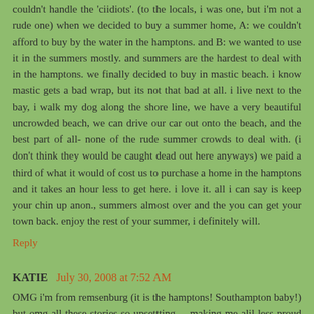couldn't handle the 'ciidiots'. (to the locals, i was one, but i'm not a rude one) when we decided to buy a summer home, A: we couldn't afford to buy by the water in the hamptons. and B: we wanted to use it in the summers mostly. and summers are the hardest to deal with in the hamptons. we finally decided to buy in mastic beach. i know mastic gets a bad wrap, but its not that bad at all. i live next to the bay, i walk my dog along the shore line, we have a very beautiful uncrowded beach, we can drive our car out onto the beach, and the best part of all- none of the rude summer crowds to deal with. (i don't think they would be caught dead out here anyways) we paid a third of what it would of cost us to purchase a home in the hamptons and it takes an hour less to get here. i love it. all i can say is keep your chin up anon., summers almost over and the you can get your town back. enjoy the rest of your summer, i definitely will.
Reply
KATIE  July 30, 2008 at 7:52 AM
OMG i'm from remsenburg (it is the hamptons! Southampton baby!) but omg all these stories so upsettting ... making me alil less proud Hamptons...I worked on Sushi One in Westhampton